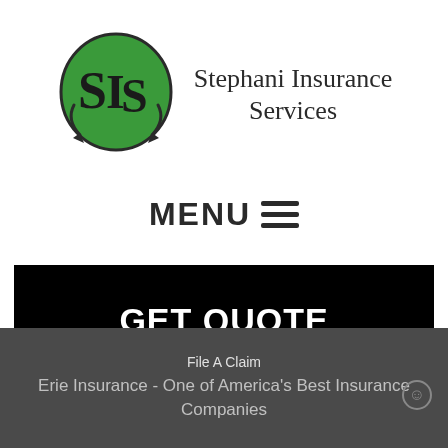[Figure (logo): Stephani Insurance Services logo — green circle with stylized 'SIS' letters in black, next to the company name text]
Stephani Insurance Services
MENU ☰
GET QUOTE
File A Claim
Erie Insurance - One of America's Best Insurance Companies